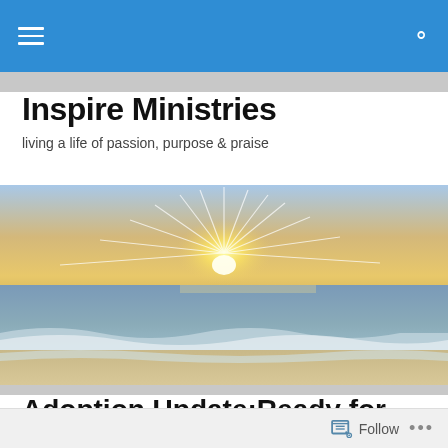Inspire Ministries
living a life of passion, purpose & praise
[Figure (photo): Panoramic ocean beach photo with sun rays bursting through clouds over the horizon, waves washing onto sandy shore]
Adoption Update:Ready for Take Off
Follow ...